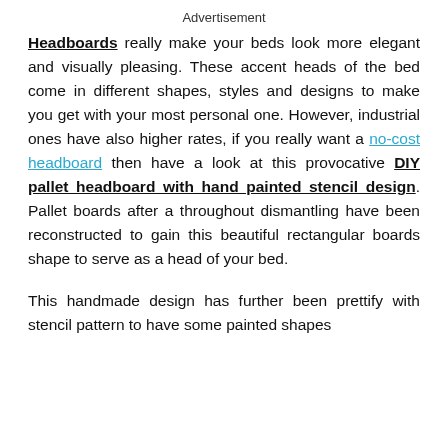Advertisement
Headboards really make your beds look more elegant and visually pleasing. These accent heads of the bed come in different shapes, styles and designs to make you get with your most personal one. However, industrial ones have also higher rates, if you really want a no-cost headboard then have a look at this provocative DIY pallet headboard with hand painted stencil design. Pallet boards after a throughout dismantling have been reconstructed to gain this beautiful rectangular boards shape to serve as a head of your bed.
This handmade design has further been prettify with stencil pattern to have some painted shapes